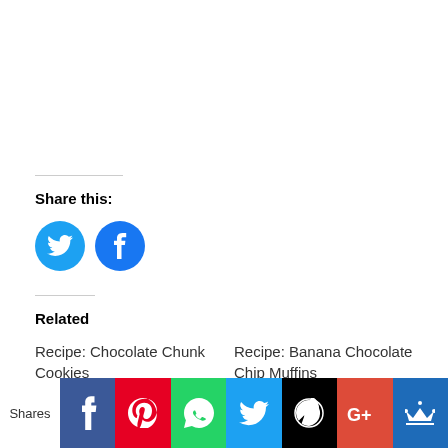Share this:
[Figure (infographic): Two circular social media share buttons: Twitter (blue bird icon) and Facebook (blue 'f' icon)]
Related
Recipe: Chocolate Chunk Cookies
March 2, 2017
In "Local Cuisine"
Recipe: Banana Chocolate Chip Muffins
April 6, 2017
In "Local Cuisine"
[Figure (infographic): Bottom share bar showing: Shares label, Facebook, Pinterest, WhatsApp, Twitter, WordPress, Google+, Crown icons in colored blocks]